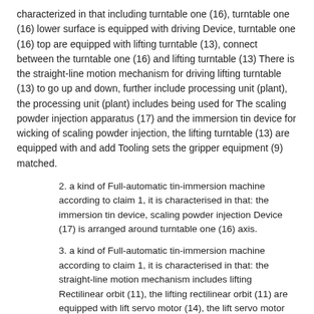characterized in that including turntable one (16), turntable one (16) lower surface is equipped with driving Device, turntable one (16) top are equipped with lifting turntable (13), connect between the turntable one (16) and lifting turntable (13) There is the straight-line motion mechanism for driving lifting turntable (13) to go up and down, further include processing unit (plant), the processing unit (plant) includes being used for The scaling powder injection apparatus (17) and the immersion tin device for wicking of scaling powder injection, the lifting turntable (13) are equipped with and add Tooling sets the gripper equipment (9) matched.
2. a kind of Full-automatic tin-immersion machine according to claim 1, it is characterised in that: the immersion tin device, scaling powder injection Device (17) is arranged around turntable one (16) axis.
3. a kind of Full-automatic tin-immersion machine according to claim 1, it is characterised in that: the straight-line motion mechanism includes lifting Rectilinear orbit (11), the lifting rectilinear orbit (11) are equipped with lift servo motor (14), the lift servo motor (14) Output end be equipped with through lifting turntable (13) lifting roller